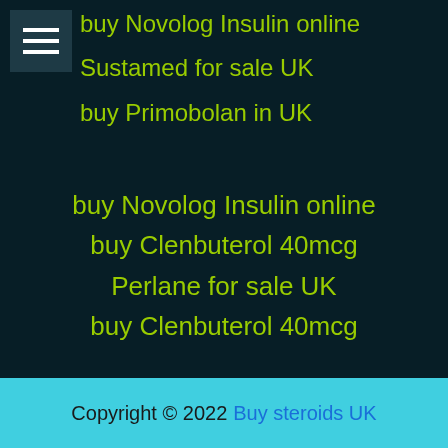buy Novolog Insulin online
Sustamed for sale UK
buy Primobolan in UK
buy Novolog Insulin online
buy Clenbuterol 40mcg
Perlane for sale UK
buy Clenbuterol 40mcg
Copyright © 2022 Buy steroids UK